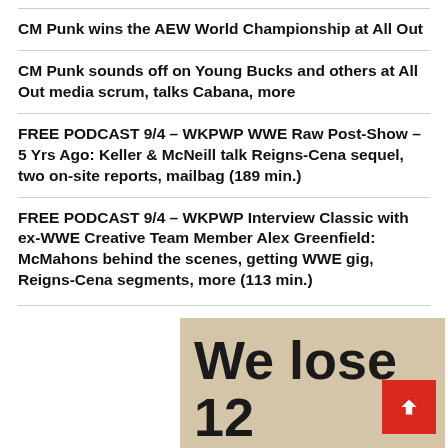CM Punk wins the AEW World Championship at All Out
CM Punk sounds off on Young Bucks and others at All Out media scrum, talks Cabana, more
FREE PODCAST 9/4 – WKPWP WWE Raw Post-Show – 5 Yrs Ago: Keller & McNeill talk Reigns-Cena sequel, two on-site reports, mailbag (189 min.)
FREE PODCAST 9/4 – WKPWP Interview Classic with ex-WWE Creative Team Member Alex Greenfield: McMahons behind the scenes, getting WWE gig, Reigns-Cena segments, more (113 min.)
[Figure (infographic): Advertisement banner with beige/tan background showing large bold text 'We lose 12' with more text cut off below, partially visible.]